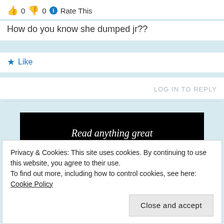👍 0 👎 0 ℹ️ Rate This
How do you know she dumped jr??
★ Like
LOG IN TO REPLY
[Figure (screenshot): Advertisement banner on black background with italic serif text 'Read anything great lately?' and a red 'Start reading' button]
Privacy & Cookies: This site uses cookies. By continuing to use this website, you agree to their use.
To find out more, including how to control cookies, see here: Cookie Policy
Close and accept